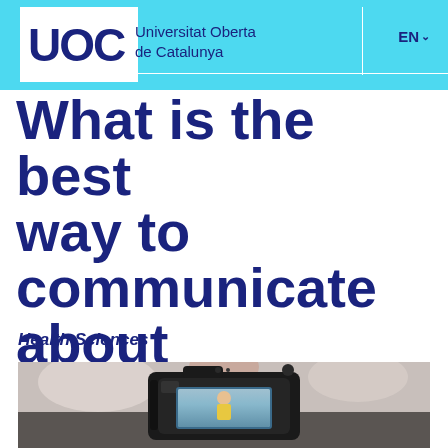UOC Universitat Oberta de Catalunya EN
What is the best way to communicate about nutrition?
Health Sciences
[Figure (photo): A camera photographing a woman in a kitchen wearing a yellow apron, suggesting food/nutrition video content creation]